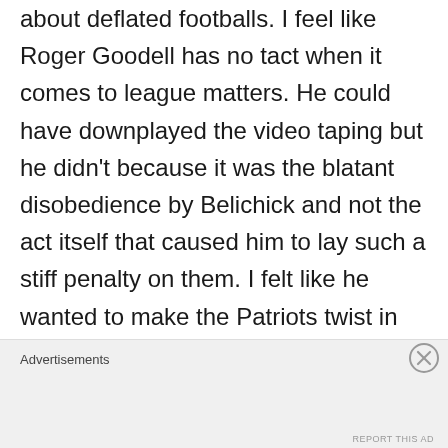about deflated footballs. I feel like Roger Goodell has no tact when it comes to league matters. He could have downplayed the video taping but he didn't because it was the blatant disobedience by Belichick and not the act itself that caused him to lay such a stiff penalty on them. I felt like he wanted to make the Patriots twist in the wind. I get the same sense now as well. He could have killed this on the vine on Monday morning with
Advertisements